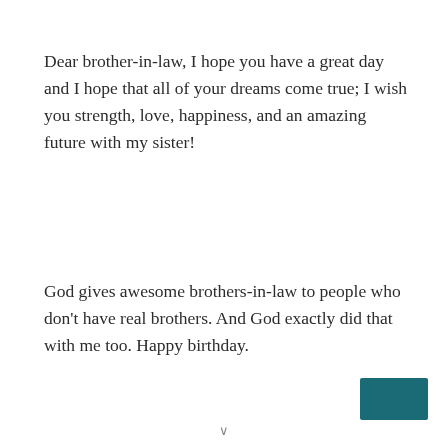Dear brother-in-law, I hope you have a great day and I hope that all of your dreams come true; I wish you strength, love, happiness, and an amazing future with my sister!
God gives awesome brothers-in-law to people who don't have real brothers. And God exactly did that with me too. Happy birthday.